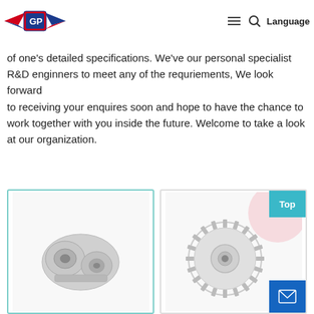[Logo: GP brand mark] [hamburger menu] [search icon] Language
,Really should any of these items be of interest to you, please let u We will be pleased to give you a quotation upon receipt of one's detailed specifications. We've our personal specialist R&D enginners to meet any of the requriements, We look forward to receiving your enquires soon and hope to have the chance to work together with you inside the future. Welcome to take a look at our organization.
[Figure (photo): Product photo: bicycle component (stem/headset clamp) with silver metallic finish, shown inside a teal-bordered card]
[Figure (photo): Product photo: bicycle cassette sprocket, silver metallic, shown in a light-bordered card with a pink circular watermark and Top button overlay]